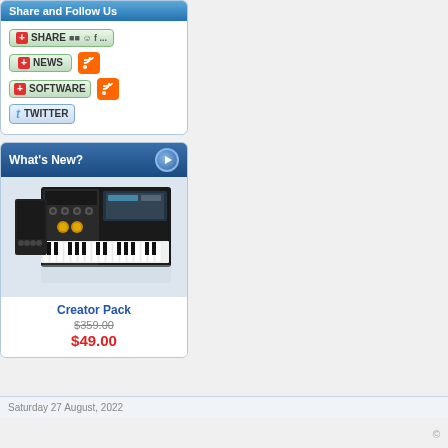Share and Follow Us
[Figure (screenshot): Share and Follow Us widget with SHARE, NEWS, SOFTWARE, and TWITTER buttons with RSS feed icons]
What's New?
[Figure (screenshot): Product image of Creator Pack synthesizer software showing keyboard workstation interface]
Creator Pack
$359.00 (strikethrough original price)
$49.00 (sale price in red)
Saturday 27 August, 2022